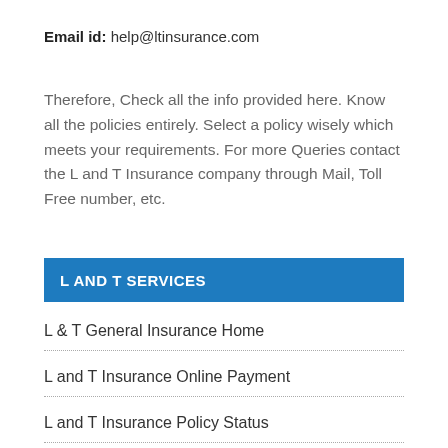Email id: help@ltinsurance.com
Therefore, Check all the info provided here. Know all the policies entirely. Select a policy wisely which meets your requirements. For more Queries contact the L and T Insurance company through Mail, Toll Free number, etc.
L AND T SERVICES
L & T General Insurance Home
L and T Insurance Online Payment
L and T Insurance Policy Status